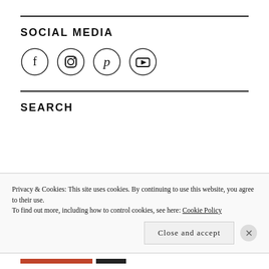SOCIAL MEDIA
[Figure (illustration): Four social media icon circles: Facebook, Instagram, Pinterest, YouTube]
SEARCH
Privacy & Cookies: This site uses cookies. By continuing to use this website, you agree to their use.
To find out more, including how to control cookies, see here: Cookie Policy
Close and accept